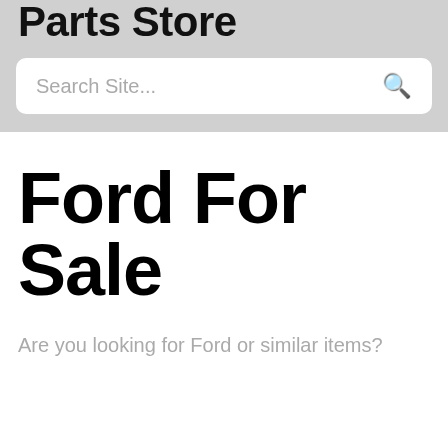Parts Store
Search Site...
Ford For Sale
Are you looking for Ford or similar items?